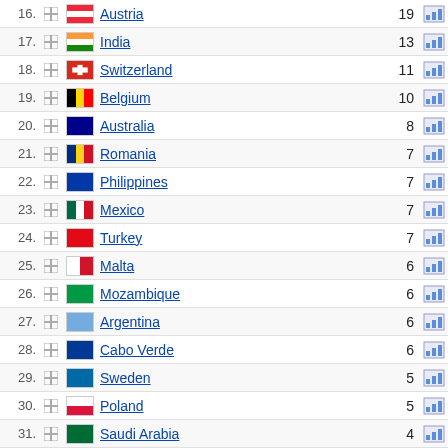16. Austria 19
17. India 13
18. Switzerland 11
19. Belgium 10
20. Australia 8
21. Romania 7
22. Philippines 7
23. Mexico 7
24. Turkey 7
25. Malta 6
26. Mozambique 6
27. Argentina 6
28. Cabo Verde 6
29. Sweden 5
30. Poland 5
31. Saudi Arabia 4
32. Luxembourg 4
33. Colombia 4
34. Denmark 4
35. Czechia 4
36. Greece 3